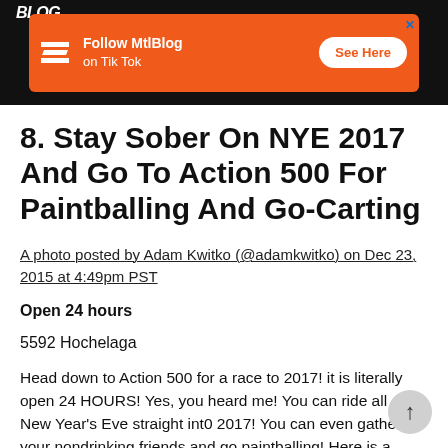[Figure (screenshot): Orange advertisement banner for MtlBlog on TikTok with 'Follow MtlBlog on Tik Tok' text and 'See Here' button, on a black header bar]
8. Stay Sober On NYE 2017 And Go To Action 500 For Paintballing And Go-Carting
A photo posted by Adam Kwitko (@adamkwitko) on Dec 23, 2015 at 4:49pm PST
Open 24 hours
5592 Hochelaga
Head down to Action 500 for a race to 2017! it is literally open 24 HOURS! Yes, you heard me! You can ride all on New Year's Eve straight int0 2017! You can even gather all your nondrinking friends and go paintballing! Here is a Groupon to save up to 67% off your next ride!